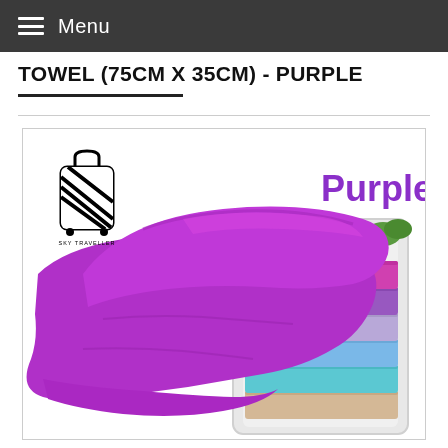Menu
TOWEL (75CM X 35CM) - PURPLE
[Figure (photo): Product photo of a purple microfiber towel draped over a stack of colorful folded towels (purple, lavender, light blue, cyan, orange/beige). A Sky Traveller brand logo (luggage icon with diagonal stripes) is visible in the top left of the image, and the word 'Purple' appears in large purple bold text in the upper right.]